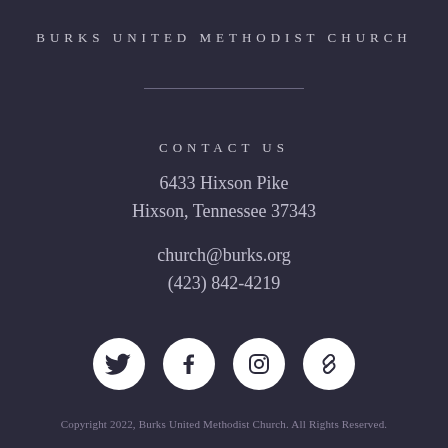BURKS UNITED METHODIST CHURCH
CONTACT US
6433 Hixson Pike
Hixson, Tennessee 37343
church@burks.org
(423) 842-4219
[Figure (illustration): Four social media icon circles (white circles on dark background): Twitter bird icon, Facebook f icon, Instagram camera icon, chain/link icon]
Copyright 2022, Burks United Methodist Church. All Rights Reserved.